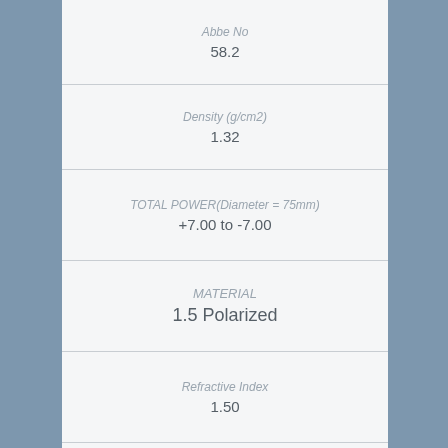| Label | Value |
| --- | --- |
| Abbe No | 58.2 |
| Density (g/cm2) | 1.32 |
| TOTAL POWER(Diameter = 75mm) | +7.00 to -7.00 |
| MATERIAL | 1.5 Polarized |
| Refractive Index | 1.50 |
| Abbe No | 58.2 |